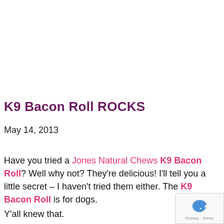K9 Bacon Roll ROCKS
May 14, 2013
Have you tried a Jones Natural Chews K9 Bacon Roll? Well why not? They're delicious! I'll tell you a little secret – I haven't tried them either. The K9 Bacon Roll is for dogs.
Y'all knew that.